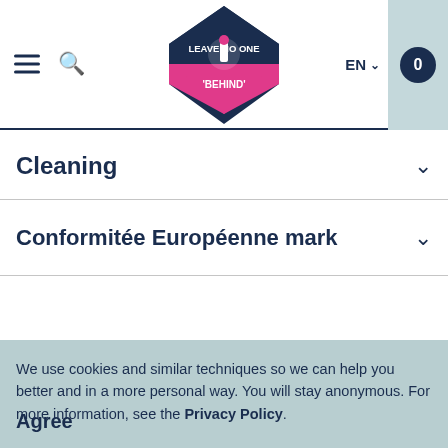[Figure (logo): Leave No One Behind logo — diamond-shaped badge with pink and dark navy colors, a hand holding a torch in the center, text 'LEAVE NO ONE BEHIND' in white and pink letters]
Cleaning
Conformitée Européenne mark
We use cookies and similar techniques so we can help you better and in a more personal way. You will stay anonymous. For more information, see the Privacy Policy.
Agree